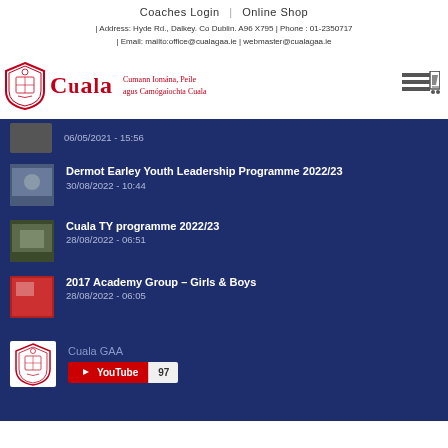Coaches Login | Online Shop
| Address: Hyde Rd., Dalkey. Co Dublin. A96 X795 | Phone : 01-2350717 | Email: mailto:office@cualagaa.ie | webmaster@cualagaa.ie
[Figure (logo): Cuala GAA club logo with shield emblem, text 'Cuala' in red, Irish language text, and shopping cart icon]
06/05/2021 - 15:56
Dermot Earley Youth Leadership Programme 2022/23
30/08/2022 - 10:44
Cuala TY programme 2022/23
28/08/2022 - 06:51
2017 Academy Group – Girls & Boys
28/08/2022 - 06:05
Cuala GAA
[Figure (screenshot): YouTube subscription button showing 97 subscribers for Cuala GAA]